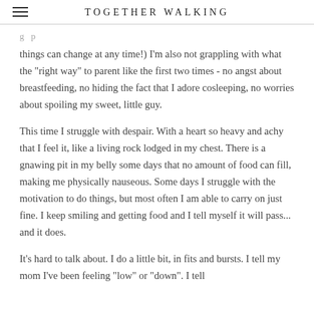TOGETHER WALKING
things can change at any time!) I'm also not grappling with what the "right way" to parent like the first two times - no angst about breastfeeding, no hiding the fact that I adore cosleeping, no worries about spoiling my sweet, little guy.
This time I struggle with despair. With a heart so heavy and achy that I feel it, like a living rock lodged in my chest. There is a gnawing pit in my belly some days that no amount of food can fill, making me physically nauseous. Some days I struggle with the motivation to do things, but most often I am able to carry on just fine. I keep smiling and getting food and I tell myself it will pass... and it does.
It's hard to talk about. I do a little bit, in fits and bursts. I tell my mom I've been feeling "low" or "down". I tell